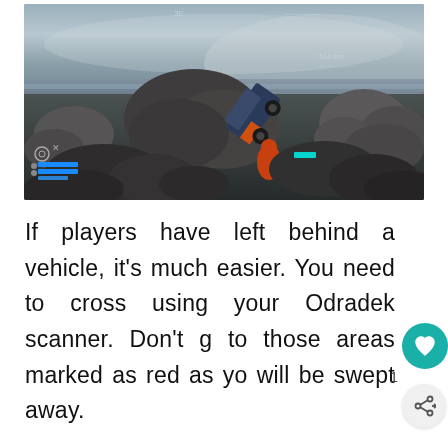[Figure (screenshot): Video game screenshot showing a vehicle tipped on its side among rocky terrain near a river or water body, with game HUD elements visible including health bars and icons in the lower left corner.]
If players have left behind a vehicle, it's much easier. You need to cross using your Odradek scanner. Don't go to those areas marked as red as you will be swept away.